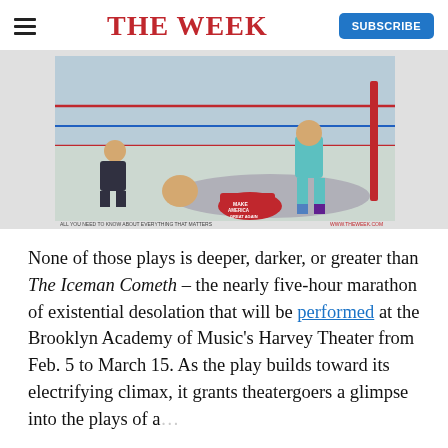THE WEEK
[Figure (illustration): Editorial cartoon showing a boxing ring scene with a figure in teal/blue outfit standing over a knocked-down figure in gray suit wearing a red MAGA hat, with another figure in a dark suit crouching near the ropes. The image includes a tagline 'ALL YOU NEED TO KNOW ABOUT EVERYTHING THAT MATTERS' and 'WWW.THEWEEK.COM'.]
None of those plays is deeper, darker, or greater than The Iceman Cometh – the nearly five-hour marathon of existential desolation that will be performed at the Brooklyn Academy of Music's Harvey Theater from Feb. 5 to March 15. As the play builds toward its electrifying climax, it grants theatergoers a glimpse into the plays of an increasingly Catholic frame for their...